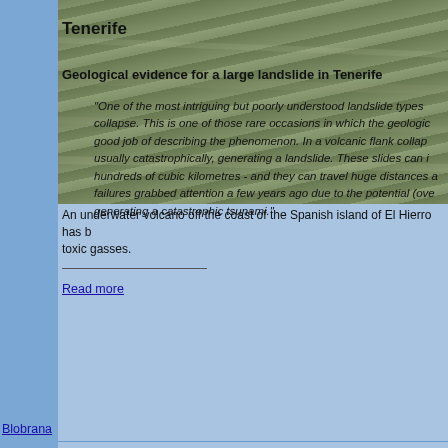[Figure (photo): Aerial or underwater view showing volcanic/oceanic landscape with muted green-grey tones, partially cropped at top]
An underwater volcano off the coast of the Spanish island of El Hierro has b... toxic gasses.
Tenerife
Geological evidence for a large landslide in Tenerife
“One of the most intriguing but poorly understood landslide types collapse. This is one of those rare occasions in which the geologic good job of describing the phenomenon. In a volcanic flank collap usually catastrophically, generating a landslide. These slides can i hundreds of cubic kilometres - and they can travel huge distances a failures grabbed attention a few years ago due to the potential (ove generating a catastrophic tsunami.”
Read more
Blobrana
L
✔
Posts: 131433
Date: Oct 5 15:13 2011